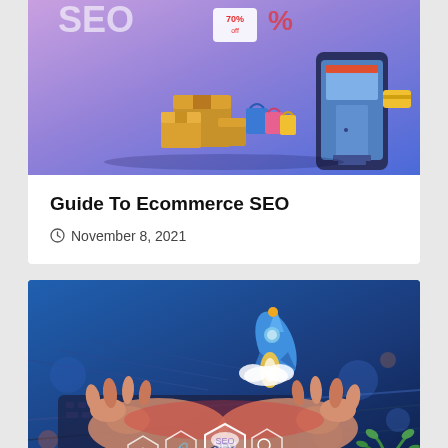[Figure (illustration): E-commerce SEO illustration with packages, shopping bags, smartphone storefront, and sale tags on purple-blue gradient background]
Guide To Ecommerce SEO
November 8, 2021
[Figure (photo): Person typing on laptop keyboard with SEO icon honeycomb overlay and blue rocket graphic, representing SEO digital marketing concept]